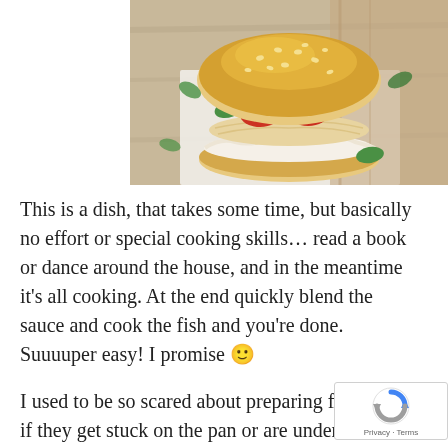[Figure (photo): A sesame seed burger bun sandwich with fish, tomatoes, and fresh basil leaves on a white paper on a wooden surface]
This is a dish, that takes some time, but basically no effort or special cooking skills… read a book or dance around the house, and in the meantime it's all cooking. At the end quickly blend the sauce and cook the fish and you're done. Suuuuper easy! I promise 🙂
I used to be so scared about preparing fish, what if they get stuck on the pan or are undercooked or even soggy. So I avoided making them. But after a few tries, I realised,